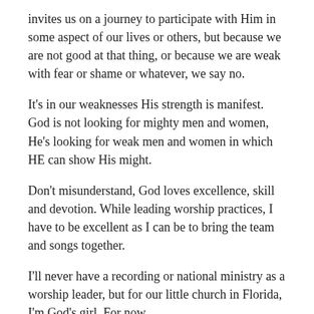invites us on a journey to participate with Him in some aspect of our lives or others, but because we are not good at that thing, or because we are weak with fear or shame or whatever, we say no.
It's in our weaknesses His strength is manifest. God is not looking for mighty men and women, He's looking for weak men and women in which HE can show His might.
Don't misunderstand, God loves excellence, skill and devotion. While leading worship practices, I have to be excellent as I can be to bring the team and songs together.
I'll never have a recording or national ministry as a worship leader, but for our little church in Florida, I'm God's girl. For now.
That, in some ways, is Joy's journey. She said yes to her father's desire.